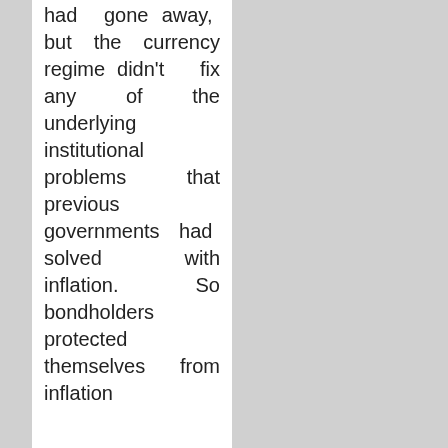had gone away, but the currency regime didn't fix any of the underlying institutional problems that previous governments had solved with inflation. So bondholders protected themselves from inflation